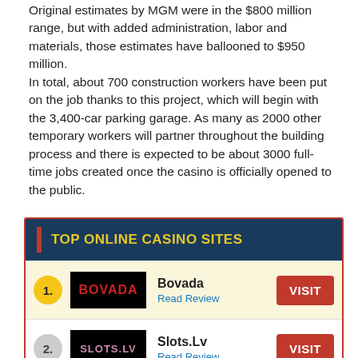Original estimates by MGM were in the $800 million range, but with added administration, labor and materials, those estimates have ballooned to $950 million.
In total, about 700 construction workers have been put on the job thanks to this project, which will begin with the 3,400-car parking garage. As many as 2000 other temporary workers will partner throughout the building process and there is expected to be about 3000 full-time jobs created once the casino is officially opened to the public.
| Rank | Logo | Name | Action |
| --- | --- | --- | --- |
| 1. | Bovada | Bovada / Read Review | VISIT |
| 2. | Slots.Lv | Slots.Lv / Read Review | VISIT |
| 3. | Intertops | Intertops / Read Review | VISIT |